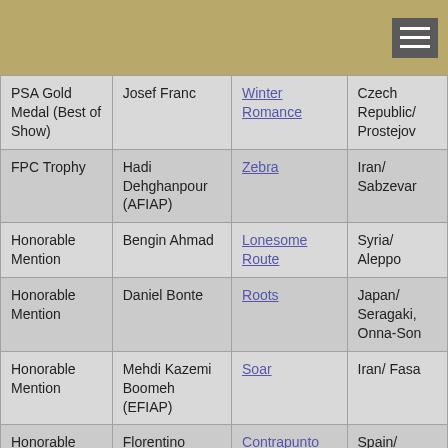| Award | Photographer | Title | Country/City |
| --- | --- | --- | --- |
| PSA Gold Medal (Best of Show) | Josef Franc | Winter Romance | Czech Republic/ Prostejov |
| FPC Trophy | Hadi Dehghanpour (AFIAP) | Zebra | Iran/ Sabzevar |
| Honorable Mention | Bengin Ahmad | Lonesome Route | Syria/ Aleppo |
| Honorable Mention | Daniel Bonte | Roots | Japan/ Seragaki, Onna-Son |
| Honorable Mention | Mehdi Kazemi Boomeh (EFIAP) | Soar | Iran/ Fasa |
| Honorable Mention | Florentino Molero Ortiz | Contrapunto | Spain/ Villarchico |